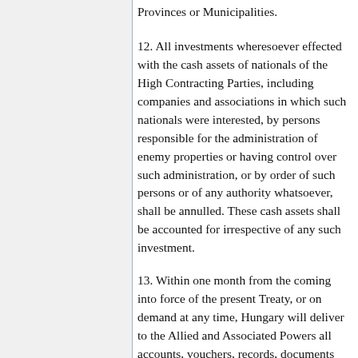Provinces or Municipalities.
12. All investments wheresoever effected with the cash assets of nationals of the High Contracting Parties, including companies and associations in which such nationals were interested, by persons responsible for the administration of enemy properties or having control over such administration, or by order of such persons or of any authority whatsoever, shall be annulled. These cash assets shall be accounted for irrespective of any such investment.
13. Within one month from the coming into force of the present Treaty, or on demand at any time, Hungary will deliver to the Allied and Associated Powers all accounts, vouchers, records, documents and information of any kind which may